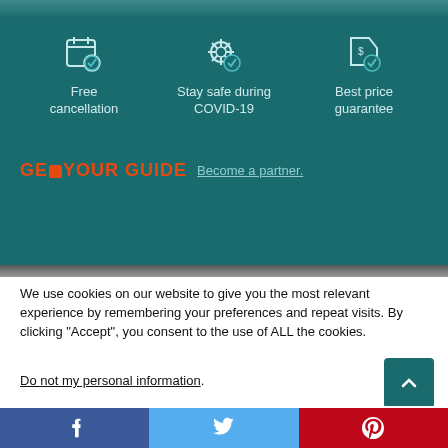[Figure (screenshot): Teal background section with three benefit icons: Free cancellation, Stay safe during COVID-19, Best price guarantee]
Free cancellation
Stay safe during COVID-19
Best price guarantee
[Figure (logo): GetYourGuide logo in orange with Become a partner link]
We use cookies on our website to give you the most relevant experience by remembering your preferences and repeat visits. By clicking “Accept”, you consent to the use of ALL the cookies.
Do not my personal information.
Cookie settings
ACCEPT COOKIES
[Figure (infographic): Social share bar with Facebook, Twitter, Pinterest icons]